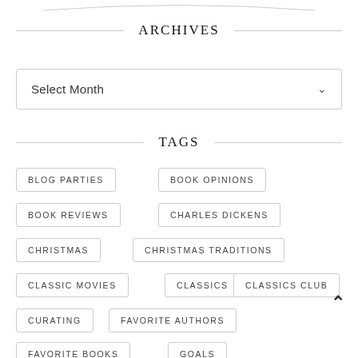ARCHIVES
Select Month
TAGS
BLOG PARTIES
BOOK OPINIONS
BOOK REVIEWS
CHARLES DICKENS
CHRISTMAS
CHRISTMAS TRADITIONS
CLASSIC MOVIES
CLASSICS
CLASSICS CLUB
CURATING
FAVORITE AUTHORS
FAVORITE BOOKS
GOALS